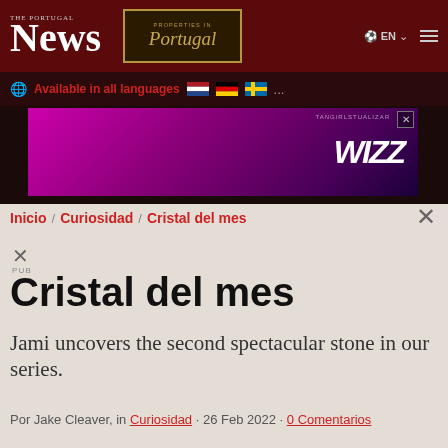THE PORTUGAL News
[Figure (logo): Properties in Portugal advertisement box with gold border]
[Figure (screenshot): Wizz Air advertisement banner with pink/purple airplane]
Available in all languages
Inicio / Curiosidad / Cristal del mes
Cristal del mes
Jami uncovers the second spectacular stone in our series.
Por Jake Cleaver, in Curiosidad · 26 Feb 2022 · 0 Comentarios